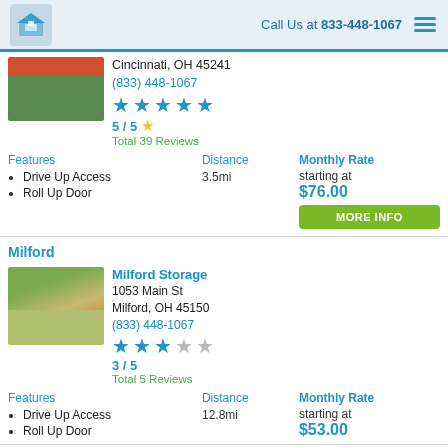Call Us at 833-448-1067
Cincinnati, OH 45241
(833) 448-1067
5 / 5 Total 39 Reviews
Drive Up Access
Roll Up Door
Distance
3.5mi
Monthly Rate
starting at
$76.00
Milford
Milford Storage
1053 Main St
Milford, OH 45150
(833) 448-1067
3 / 5
Total 5 Reviews
Drive Up Access
Roll Up Door
Distance
12.8mi
Monthly Rate
starting at
$53.00